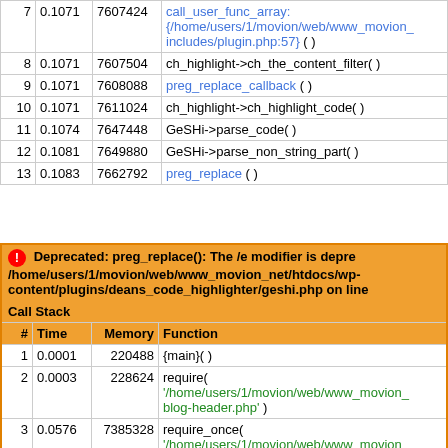| # | Time | Memory | Function |
| --- | --- | --- | --- |
| 7 | 0.1071 | 7607424 | call_user_func_array: {/home/users/1/movion/web/www_movion_ includes/plugin.php:57} ( ) |
| 8 | 0.1071 | 7607504 | ch_highlight->ch_the_content_filter( ) |
| 9 | 0.1071 | 7608088 | preg_replace_callback ( ) |
| 10 | 0.1071 | 7611024 | ch_highlight->ch_highlight_code( ) |
| 11 | 0.1074 | 7647448 | GeSHi->parse_code( ) |
| 12 | 0.1081 | 7649880 | GeSHi->parse_non_string_part( ) |
| 13 | 0.1083 | 7662792 | preg_replace ( ) |
Deprecated: preg_replace(): The /e modifier is deprecated, use preg_replace_callback instead in /home/users/1/movion/web/www_movion_net/htdocs/wp-content/plugins/deans_code_highlighter/geshi.php on line
| # | Time | Memory | Function |
| --- | --- | --- | --- |
| 1 | 0.0001 | 220488 | {main}( ) |
| 2 | 0.0003 | 228624 | require( '/home/users/1/movion/web/www_movion_ blog-header.php' ) |
| 3 | 0.0576 | 7385328 | require_once( '/home/users/1/movion/web/www_movion_ includes/template-loader.php' ) |